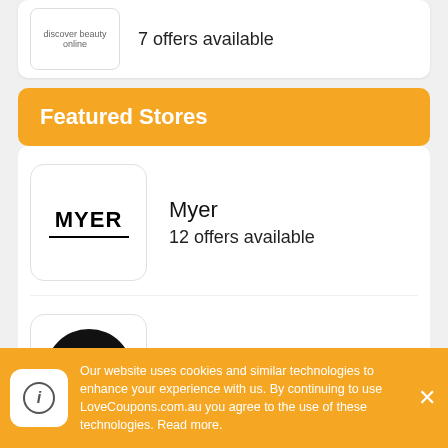discover beauty online | 7 offers available
Featured Stores
Myer
12 offers available
JD Sports
9 offers available
Booktopia
Our website uses cookies and similar technologies to enhance your experience with us. By continuing to use LoveCoupons.com.au you agree to the use of these technologies. Read more.